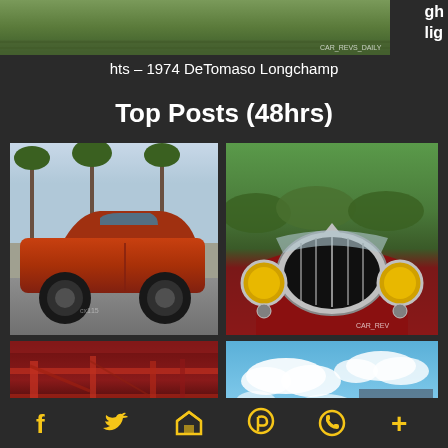[Figure (photo): Top banner image showing grassy/outdoor scene with watermark CAR_REVS_DAILY]
gh
lig
hts – 1974 DeTomaso Longchamp
Top Posts (48hrs)
[Figure (photo): Side view of modern orange/red SUV (Lexus or similar) with black wheels on parking lot]
[Figure (photo): Front grille close-up of classic dark red vintage car with yellow headlights, CAR_REV watermark]
[Figure (photo): Close-up of red car undercarriage/engine bay detail]
[Figure (photo): Sky with white clouds, scroll-up arrow overlay button]
[Figure (infographic): Social sharing icons bar: Facebook, Twitter, Email/Home, Pinterest, WhatsApp, Plus — all in yellow/gold color]